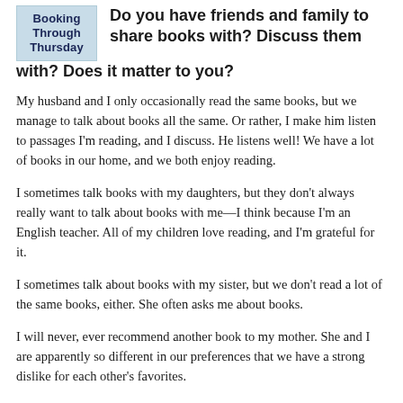[Figure (logo): Booking Through Thursday blog logo — blue background with bold text reading 'Booking Through Thursday']
Do you have friends and family to share books with? Discuss them with? Does it matter to you?
My husband and I only occasionally read the same books, but we manage to talk about books all the same. Or rather, I make him listen to passages I'm reading, and I discuss. He listens well! We have a lot of books in our home, and we both enjoy reading.
I sometimes talk books with my daughters, but they don't always really want to talk about books with me—I think because I'm an English teacher. All of my children love reading, and I'm grateful for it.
I sometimes talk about books with my sister, but we don't read a lot of the same books, either. She often asks me about books.
I will never, ever recommend another book to my mother. She and I are apparently so different in our preferences that we have a strong dislike for each other's favorites.